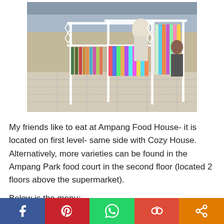[Figure (photo): Indoor shopping mall clothing rack with colorful garments on display, viewed from above/angle]
My friends like to eat at Ampang Food House- it is located on first level- same side with Cozy House. Alternatively, more varieties can be found in the Ampang Park food court in the second floor (located 2 floors above the supermarket).
Below is the menu:
Facebook | Pinterest | WhatsApp | Google+ | Share